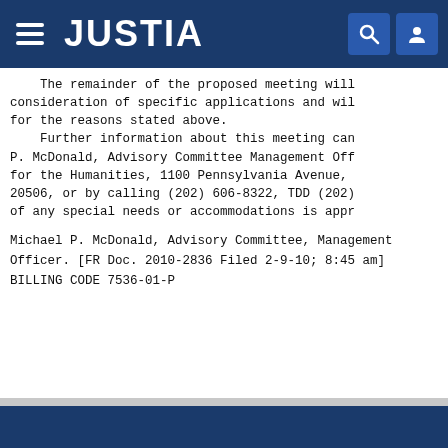JUSTIA
The remainder of the proposed meeting will consideration of specific applications and wil for the reasons stated above.
    Further information about this meeting can P. McDonald, Advisory Committee Management Off for the Humanities, 1100 Pennsylvania Avenue, 20506, or by calling (202) 606-8322, TDD (202) of any special needs or accommodations is appr
Michael P. McDonald,
Advisory Committee, Management Officer.
[FR Doc. 2010-2836 Filed 2-9-10; 8:45 am]
BILLING CODE 7536-01-P